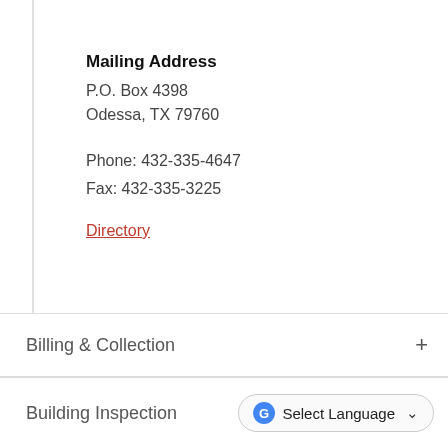Mailing Address
P.O. Box 4398
Odessa, TX 79760
Phone: 432-335-4647
Fax: 432-335-3225
Directory
Billing & Collection
Building Inspection